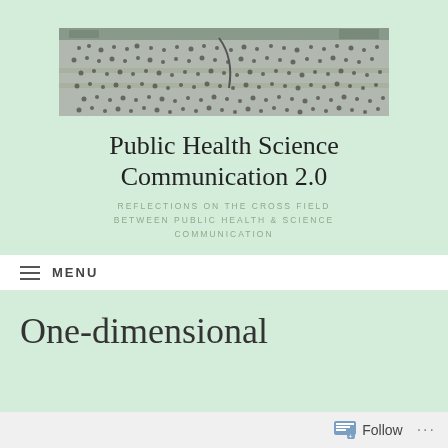[Figure (photo): Aerial view of a crowd of pedestrians crossing a busy urban intersection]
Public Health Science Communication 2.0
REFLECTIONS ON THE CROSS FIELD BETWEEN PUBLIC HEALTH & SCIENCE COMMUNICATION
MENU
One-dimensional